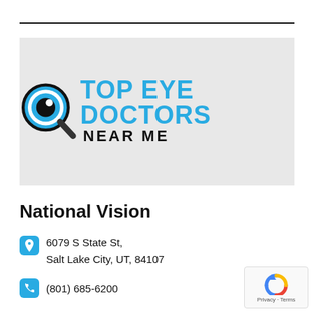[Figure (logo): Top Eye Doctors Near Me logo with magnifying glass icon and blue/black text]
National Vision
6079 S State St, Salt Lake City, UT, 84107
(801) 685-6200